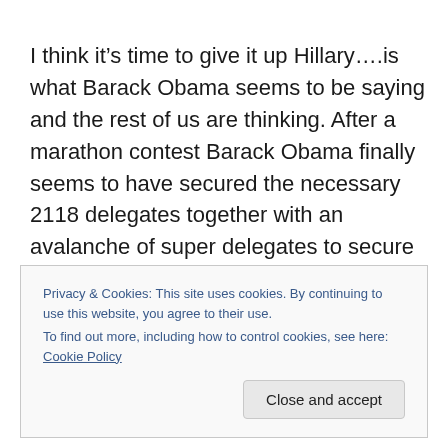I think it’s time to give it up Hillary….is what Barack Obama seems to be saying and the rest of us are thinking. After a marathon contest Barack Obama finally seems to have secured the necessary 2118 delegates together with an avalanche of super delegates to secure the Democratic nomination for the US Presidential title race. Hillary’s not yet said what her intentions are but presumably the best
Privacy & Cookies: This site uses cookies. By continuing to use this website, you agree to their use.
To find out more, including how to control cookies, see here: Cookie Policy
Close and accept